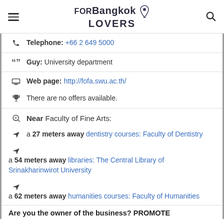FORBangkok LOVERS
Telephone: +66 2 649 5000
Guy: University department
Web page: http://fofa.swu.ac.th/
There are no offers available.
Near Faculty of Fine Arts:
a 27 meters away dentistry courses: Faculty of Dentistry
a 54 meters away libraries: The Central Library of Srinakharinwirot University
a 62 meters away humanities courses: Faculty of Humanities
Are you the owner of the business? PROMOTE